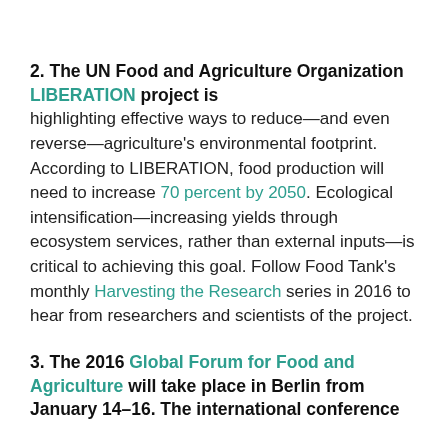2. The UN Food and Agriculture Organization LIBERATION project is highlighting effective ways to reduce—and even reverse—agriculture's environmental footprint. According to LIBERATION, food production will need to increase 70 percent by 2050. Ecological intensification—increasing yields through ecosystem services, rather than external inputs—is critical to achieving this goal. Follow Food Tank's monthly Harvesting the Research series in 2016 to hear from researchers and scientists of the project.
3. The 2016 Global Forum for Food and Agriculture will take place in Berlin from January 14–16. The international conference